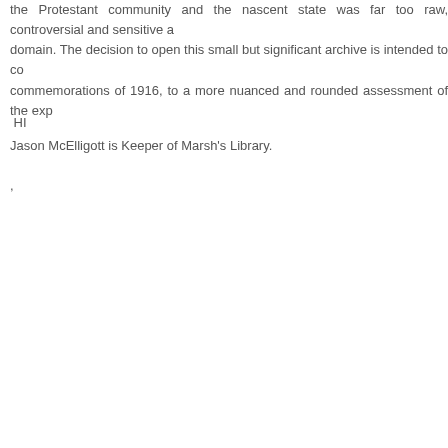the Protestant community and the nascent state was far too raw, controversial and sensitive a domain. The decision to open this small but significant archive is intended to co... commemorations of 1916, to a more nuanced and rounded assessment of the exp...
HI
Jason McElligott is Keeper of Marsh's Library.
,